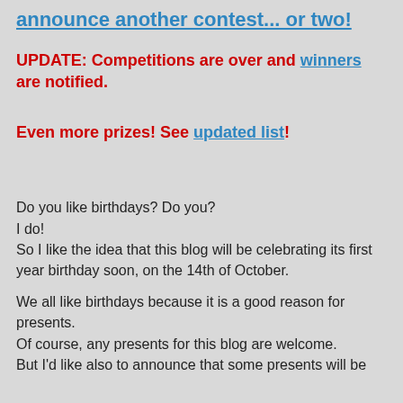announce another contest... or two!
UPDATE: Competitions are over and winners are notified.
Even more prizes! See updated list!
Do you like birthdays? Do you?
I do!
So I like the idea that this blog will be celebrating its first year birthday soon, on the 14th of October.

We all like birthdays because it is a good reason for presents.
Of course, any presents for this blog are welcome.
But I'd like also to announce that some presents will be